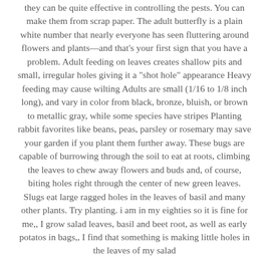they can be quite effective in controlling the pests. You can make them from scrap paper. The adult butterfly is a plain white number that nearly everyone has seen fluttering around flowers and plants—and that's your first sign that you have a problem. Adult feeding on leaves creates shallow pits and small, irregular holes giving it a "shot hole" appearance Heavy feeding may cause wilting Adults are small (1/16 to 1/8 inch long), and vary in color from black, bronze, bluish, or brown to metallic gray, while some species have stripes Planting rabbit favorites like beans, peas, parsley or rosemary may save your garden if you plant them further away. These bugs are capable of burrowing through the soil to eat at roots, climbing the leaves to chew away flowers and buds and, of course, biting holes right through the center of new green leaves. Slugs eat large ragged holes in the leaves of basil and many other plants. Try planting. i am in my eighties so it is fine for me,, I grow salad leaves, basil and beet root, as well as early potatos in bags,, I find that something is making little holes in the leaves of my salad